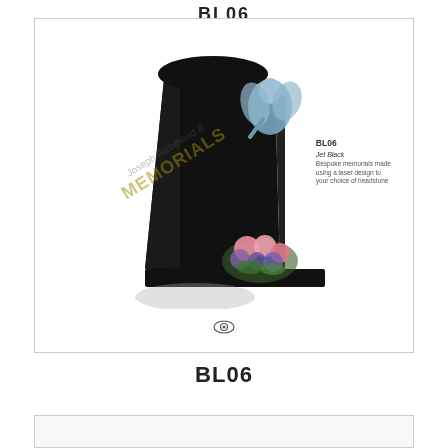BL06
[Figure (photo): Black granite memorial headstone with sculpted angel figure at top right and floral arrangement at base, displayed on white background. Watermark reads 'Joseph Richmond & MEMORIALS'. Label box shows BL06, Jet Black, with description text.]
BL06
[Figure (photo): Bottom card, partially visible, white/light grey background, empty.]